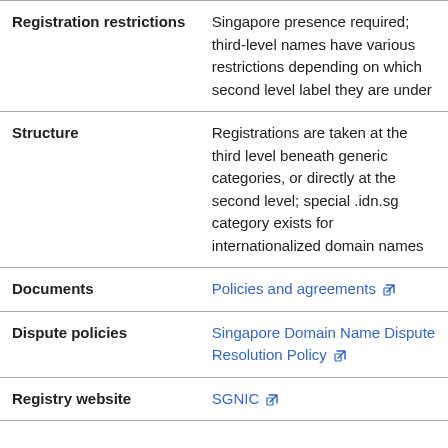|  |  |
| --- | --- |
| Registration restrictions | Singapore presence required; third-level names have various restrictions depending on which second level label they are under |
| Structure | Registrations are taken at the third level beneath generic categories, or directly at the second level; special .idn.sg category exists for internationalized domain names |
| Documents | Policies and agreements [ext] |
| Dispute policies | Singapore Domain Name Dispute Resolution Policy [ext] |
| Registry website | SGNIC [ext] |